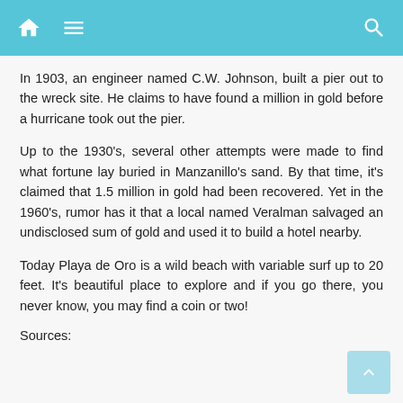Navigation header bar with home, menu, and search icons
In 1903, an engineer named C.W. Johnson, built a pier out to the wreck site. He claims to have found a million in gold before a hurricane took out the pier.
Up to the 1930's, several other attempts were made to find what fortune lay buried in Manzanillo's sand. By that time, it's claimed that 1.5 million in gold had been recovered. Yet in the 1960's, rumor has it that a local named Veralman salvaged an undisclosed sum of gold and used it to build a hotel nearby.
Today Playa de Oro is a wild beach with variable surf up to 20 feet. It's beautiful place to explore and if you go there, you never know, you may find a coin or two!
Sources: